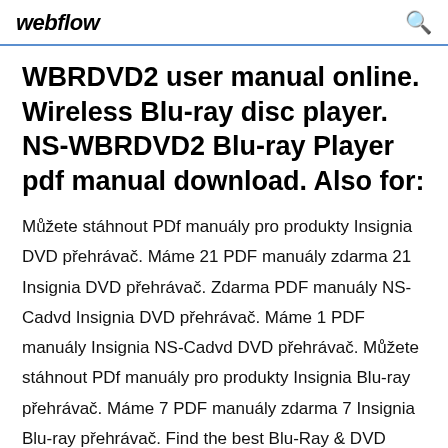webflow
WBRDVD2 user manual online. Wireless Blu-ray disc player. NS-WBRDVD2 Blu-ray Player pdf manual download. Also for:
Můžete stáhnout PDf manuály pro produkty Insignia DVD přehrávač. Máme 21 PDF manuály zdarma 21 Insignia DVD přehrávač. Zdarma PDF manuály NS-Cadvd Insignia DVD přehrávač. Máme 1 PDF manuály Insignia NS-Cadvd DVD přehrávač. Můžete stáhnout PDf manuály pro produkty Insignia Blu-ray přehrávač. Máme 7 PDF manuály zdarma 7 Insignia Blu-ray přehrávač. Find the best Blu-Ray & DVD Player among 279 models. Compare prices and